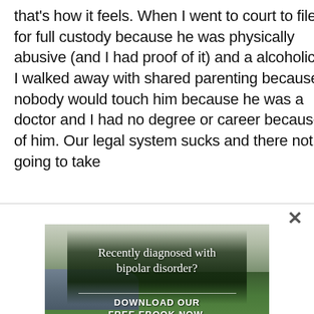that's how it feels. When I went to court to file for full custody because he was physically abusive (and I had proof of it) and a alcoholic, I walked away with shared parenting because nobody would touch him because he was a doctor and I had no degree or career because of him. Our legal system sucks and there not going to take
[Figure (photo): Advertisement with a forest/nature background showing a river, pine trees, and misty mountains. Text overlay reads 'Recently diagnosed with bipolar disorder?' and 'DOWNLOAD OUR FREE EBOOK NOW.' with a horizontal line beneath.]
advertisement